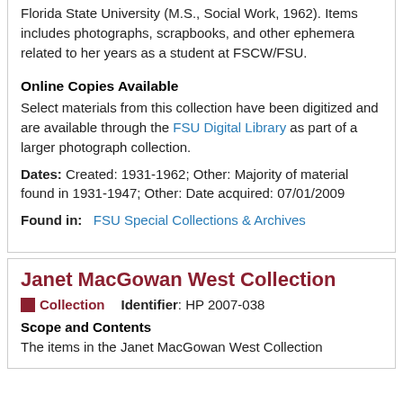Florida State University (M.S., Social Work, 1962). Items includes photographs, scrapbooks, and other ephemera related to her years as a student at FSCW/FSU.
Online Copies Available
Select materials from this collection have been digitized and are available through the FSU Digital Library as part of a larger photograph collection.
Dates: Created: 1931-1962; Other: Majority of material found in 1931-1947; Other: Date acquired: 07/01/2009
Found in: FSU Special Collections & Archives
Janet MacGowan West Collection
Collection   Identifier: HP 2007-038
Scope and Contents
The items in the Janet MacGowan West Collection contain...